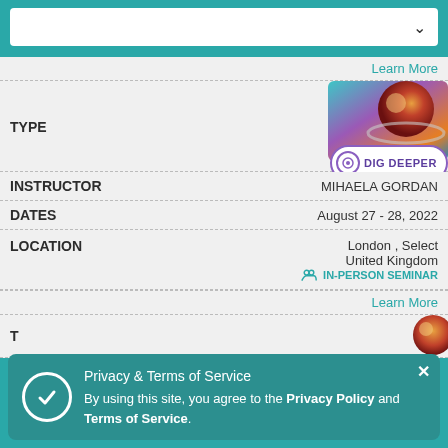[Figure (screenshot): Search input box with dropdown chevron on teal background]
Learn More
TYPE
[Figure (logo): Dig Deeper badge with planet image and purple circular logo]
INSTRUCTOR	MIHAELA GORDAN
DATES	August 27 - 28, 2022
LOCATION	London , Select
United Kingdom
IN-PERSON SEMINAR
Learn More
Privacy & Terms of Service
By using this site, you agree to the Privacy Policy and Terms of Service.